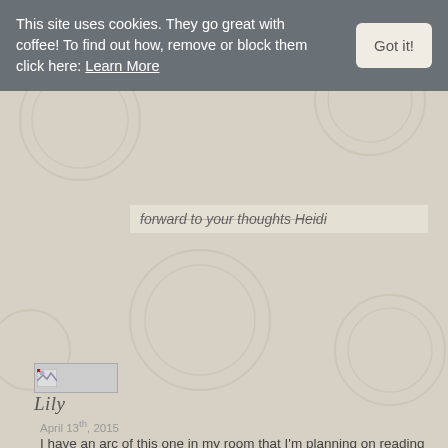This site uses cookies. They go great with coffee! To find out how, remove or block them click here: Learn More
Got it!
forward to your thoughts Heidi
[Figure (photo): Small avatar/thumbnail image placeholder with broken image icon]
Lily
April 13th, 2015
I have an arc of this one in my room that I'm planning on reading but I'm just waiting until i'm in the proper mindset before I do. Since this one deals with such a difficult subject matter and it's a tough book in itself I want to be in the right frame of mind going in. Lovely review Kim.